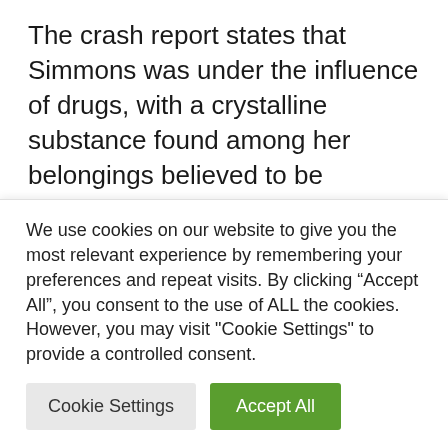The crash report states that Simmons was under the influence of drugs, with a crystalline substance found among her belongings believed to be methamphetamine.
Bowyer was absent from last week's Fox Sports broadcast at Sonoma with what the network called a “personal matter.” The...
We use cookies on our website to give you the most relevant experience by remembering your preferences and repeat visits. By clicking “Accept All”, you consent to the use of ALL the cookies. However, you may visit "Cookie Settings" to provide a controlled consent.